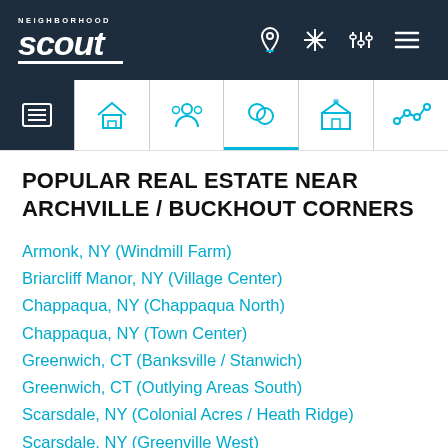Neighborhood Scout - navigation bar with logo and icons
POPULAR REAL ESTATE NEAR ARCHVILLE / BUCKHOUT CORNERS
Armonk, NY (Windmill Farm)
Briarcliff Manor, NY (Village Center)
Chappaqua, NY (Chappaqua North)
Chappaqua, NY (Town Center)
Greenwich, CT (Banksville / Stanwich)
Greenwich, CT (Outlying Areas South)
Scarsdale, NY (Colonial Acres / Heath Ridge)
Scarsdale, NY (Greenville West)